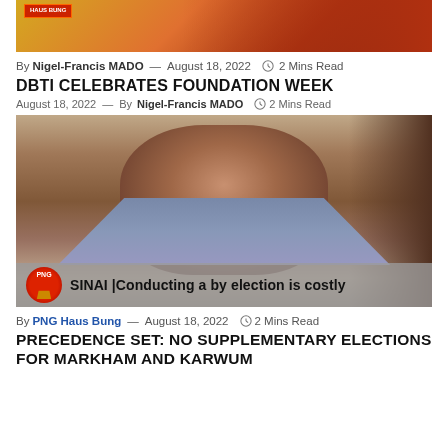[Figure (photo): Top banner image with warm orange/red gradient background and a small logo badge in top-left corner]
By Nigel-Francis MADO — August 18, 2022  2 Mins Read
DBTI CELEBRATES FOUNDATION WEEK
August 18, 2022 — By Nigel-Francis MADO  2 Mins Read
[Figure (photo): Close-up photo of a male individual, with an overlay bar at the bottom showing PNG Haus Bung logo and text: SINAI |Conducting a by election is costly]
By PNG Haus Bung — August 18, 2022  2 Mins Read
PRECEDENCE SET: NO SUPPLEMENTARY ELECTIONS FOR MARKHAM AND KARWUM